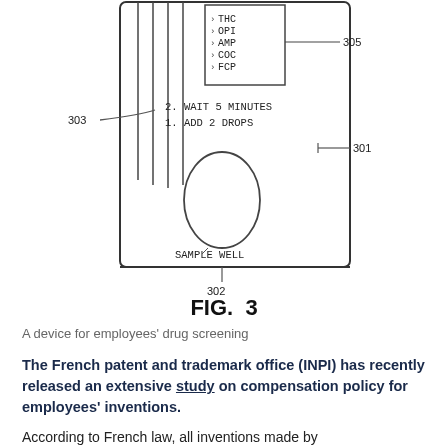[Figure (engineering-diagram): Patent engineering diagram showing a drug screening device (FIG. 3) with labeled components: a rectangular housing (301) containing vertical channels (303), a result window with indicators (THC, OPI, AMP, COC, FCP) labeled 305, instructions '2. WAIT 5 MINUTES' and '1. ADD 2 DROPS', a sample well in the center, and a base labeled 302.]
FIG. 3
A device for employees' drug screening
The French patent and trademark office (INPI) has recently released an extensive study on compensation policy for employees' inventions.
According to French law, all inventions made by